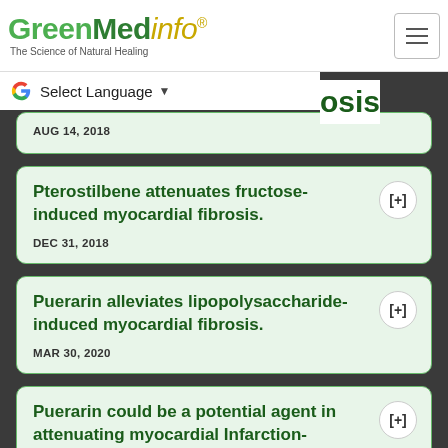GreenMedinfo® The Science of Natural Healing
Select Language ▼
osis
AUG 14, 2018
Pterostilbene attenuates fructose-induced myocardial fibrosis. DEC 31, 2018
Puerarin alleviates lipopolysaccharide-induced myocardial fibrosis. MAR 30, 2020
Puerarin could be a potential agent in attenuating myocardial Infarction-induced cardiac fibrosis.